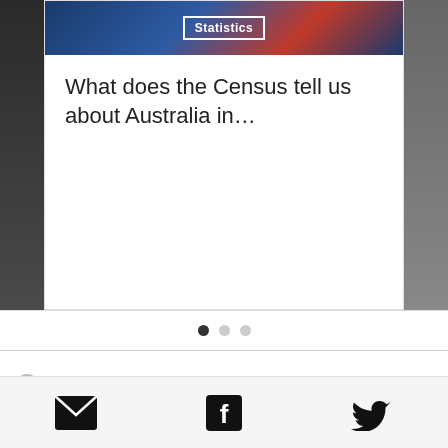[Figure (screenshot): Carousel card showing Australian Bureau of Statistics content. Left partial card shows a dark photo. Center card has a dark blue/red background image with a white bordered badge reading 'Statistics', and below it the title 'What does the Census tell us about Australia in...'. Right partial card shows a partial photo.]
[Figure (other): Carousel navigation dots: one filled dark dot (active) and two light grey dots]
[Figure (other): Loading spinner dot (grey circle) in white area]
[Figure (other): Footer bar with email icon, Facebook icon, and Twitter bird icon]